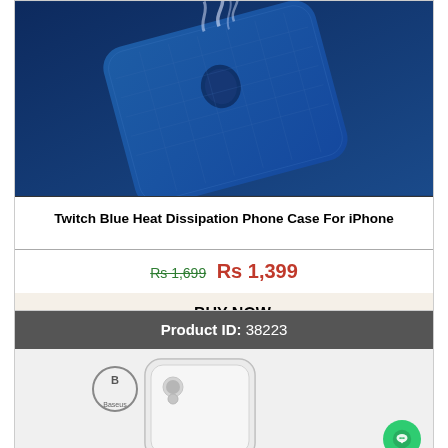[Figure (photo): Blue iPhone heat dissipation phone case shown at an angle against dark blue background, with Apple logo visible and a smoke/heat wave effect above it]
Twitch Blue Heat Dissipation Phone Case For iPhone
Rs 1,699  Rs 1,399
▶ BUY NOW
Product ID: 38223
[Figure (photo): White iPhone case product shown partially, with Baseus brand logo visible at top]